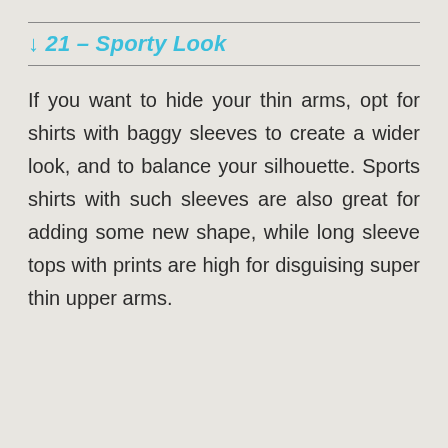↓ 21 – Sporty Look
If you want to hide your thin arms, opt for shirts with baggy sleeves to create a wider look, and to balance your silhouette. Sports shirts with such sleeves are also great for adding some new shape, while long sleeve tops with prints are high for disguising super thin upper arms.